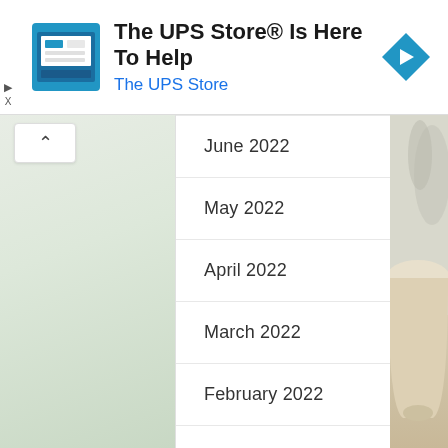[Figure (screenshot): UPS Store advertisement banner with logo, title 'The UPS Store® Is Here To Help', subtitle 'The UPS Store', and a blue diamond arrow icon on the right]
June 2022
May 2022
April 2022
March 2022
February 2022
January 2022
December 2021